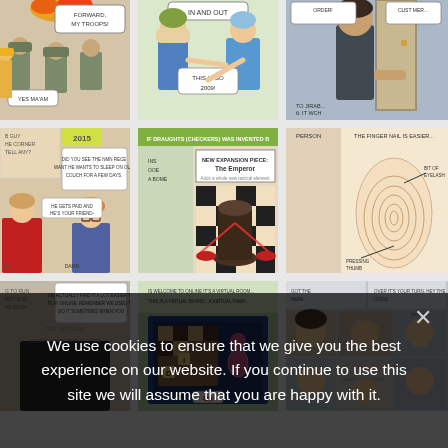[Figure (illustration): Grid of comic strip panels arranged in 3 rows of 3 columns each, showing various webcomic scenes: military/construction workers, two people talking, a man at a door; social media/checkers expansion; fingerprint diagram; more comic strips at bottom. A cookie consent overlay covers the bottom portion of the page.]
We use cookies to ensure that we give you the best experience on our website. If you continue to use this site we will assume that you are happy with it.